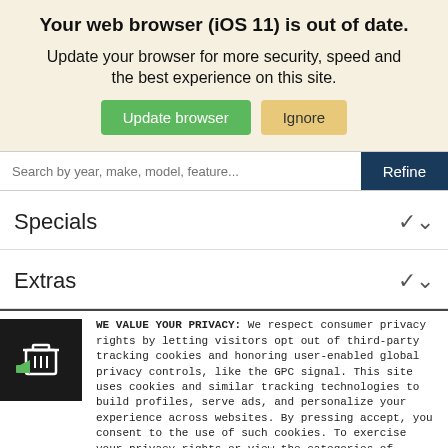Your web browser (iOS 11) is out of date.
Update your browser for more security, speed and the best experience on this site.
Update browser | Ignore
Search by year, make, model, feature...
Specials
Extras
WE VALUE YOUR PRIVACY: We respect consumer privacy rights by letting visitors opt out of third-party tracking cookies and honoring user-enabled global privacy controls, like the GPC signal. This site uses cookies and similar tracking technologies to build profiles, serve ads, and personalize your experience across websites. By pressing accept, you consent to the use of such cookies. To exercise your privacy rights or view the categories of personal information we collect and the purposes for which the information is used, click here.
Language: English ∨   Powered by ComplyAuto
Accept and Continue →   Privacy Policy   ×